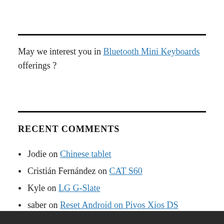May we interest you in Bluetooth Mini Keyboards offerings ?
RECENT COMMENTS
Jodie on Chinese tablet
Cristián Fernández on CAT S60
Kyle on LG G-Slate
saber on Reset Android on Pivos Xios DS
patrick allaire on Acer Liquid Z410